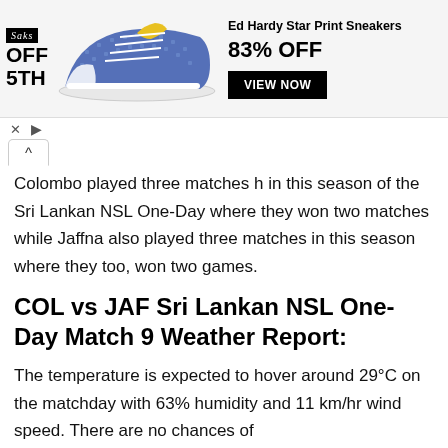[Figure (infographic): Advertisement banner for Saks OFF 5TH showing Ed Hardy Star Print Sneakers at 83% OFF with a VIEW NOW button. Blue sneaker image in center.]
× ▷
^
Colombo played three matches h in this season of the Sri Lankan NSL One-Day where they won two matches while Jaffna also played three matches in this season where they too, won two games.
COL vs JAF Sri Lankan NSL One-Day Match 9 Weather Report:
The temperature is expected to hover around 29°C on the matchday with 63% humidity and 11 km/hr wind speed. There are no chances of